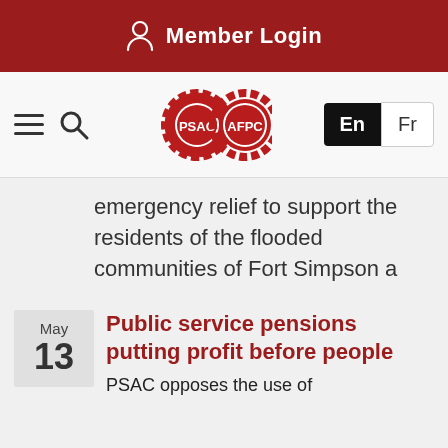Member Login
[Figure (screenshot): PSAC AFPC website navigation bar with hamburger menu, search icon, PSAC/AFPC gear logo, and En/Fr language switcher]
emergency relief to support the residents of the flooded communities of Fort Simpson a
Public service pensions putting profit before people
PSAC opposes the use of